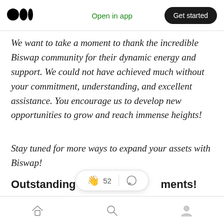Open in app | Get started
We want to take a moment to thank the incredible Biswap community for their dynamic energy and support. We could not have achieved much without your commitment, understanding, and excellent assistance. You encourage us to develop new opportunities to grow and reach immense heights!
Stay tuned for more ways to expand your assets with Biswap!
Outstanding Bi[swap achieve]ments!
Please take a moment to explore the amazing
Home | Search | Profile